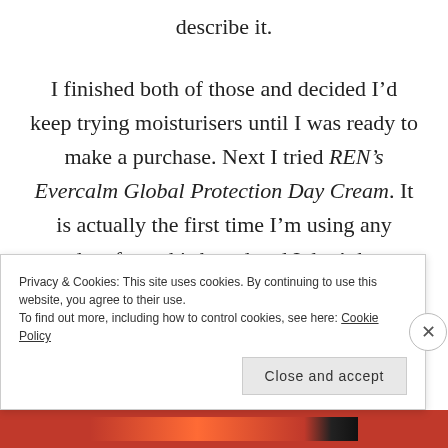describe it.
I finished both of those and decided I’d keep trying moisturisers until I was ready to make a purchase. Next I tried REN’s Evercalm Global Protection Day Cream. It is actually the first time I’m using any product from this brand and I don’t know why as I’ve only heard good things about it. I wasn’t able to get a sample but I did find a travel size of this moisturiser
Privacy & Cookies: This site uses cookies. By continuing to use this website, you agree to their use.
To find out more, including how to control cookies, see here: Cookie Policy
Close and accept